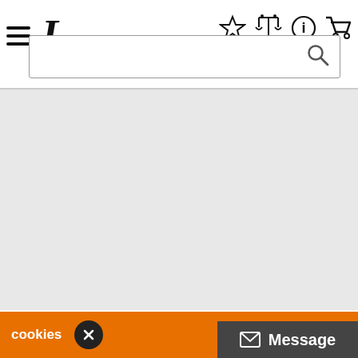Navigation header with hamburger menu, logo (L), icons (star, scales, info, cart), and search bar
[Figure (screenshot): Main content area — large grey empty rectangle below header]
[Figure (infographic): Payment method logos row: VISA (large), VISA (small outline), Mastercard (red/orange circles), bank transfer icon with G logo and BANK TRANSFER text, grey placeholder box]
cookies
[Figure (other): Orange cookie consent bar with 'cookies' text and black circular X close button]
Message